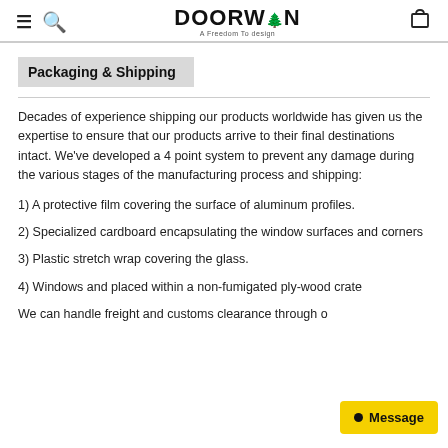DOORWIN — A Freedom To design
Packaging & Shipping
Decades of experience shipping our products worldwide has given us the expertise to ensure that our products arrive to their final destinations intact. We've developed a 4 point system to prevent any damage during the various stages of the manufacturing process and shipping:
1) A protective film covering the surface of aluminum profiles.
2) Specialized cardboard encapsulating the window surfaces and corners
3) Plastic stretch wrap covering the glass.
4) Windows and placed within a non-fumigated ply-wood crate
We can handle freight and customs clearance through o